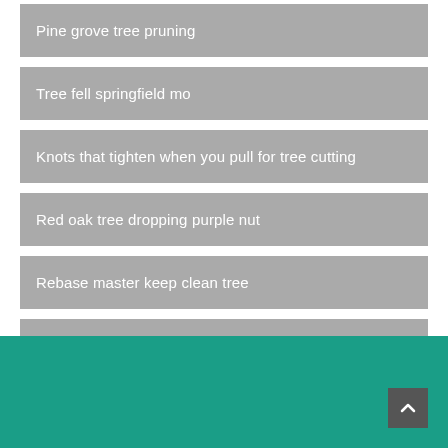Pine grove tree pruning
Tree fell springfield mo
Knots that tighten when you pull for tree cutting
Red oak tree dropping purple nut
Rebase master keep clean tree
Cut it right tree service floyd nm